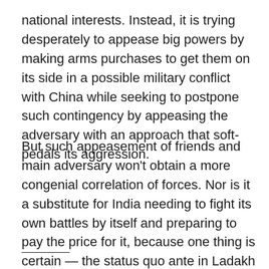national interests. Instead, it is trying desperately to appease big powers by making arms purchases to get them on its side in a possible military conflict with China while seeking to postpone such contingency by appeasing the adversary with an approach that soft-pedals its aggression.
But such appeasement of friends and main adversary won't obtain a more congenial correlation of forces. Nor is it a substitute for India needing to fight its own battles by itself and preparing to pay the price for it, because one thing is certain — the status quo ante in Ladakh that Jaishankar keeps talking about as a prerequisite for normal relations, will not be restored at the negotiating table.